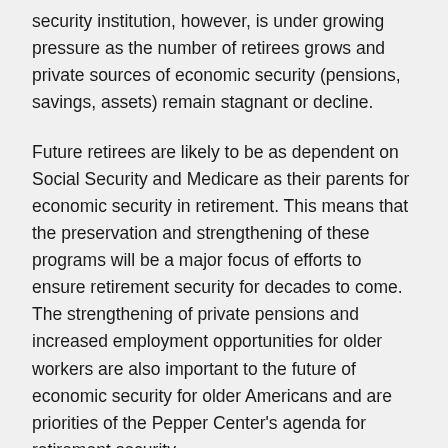security institution, however, is under growing pressure as the number of retirees grows and private sources of economic security (pensions, savings, assets) remain stagnant or decline.
Future retirees are likely to be as dependent on Social Security and Medicare as their parents for economic security in retirement. This means that the preservation and strengthening of these programs will be a major focus of efforts to ensure retirement security for decades to come. The strengthening of private pensions and increased employment opportunities for older workers are also important to the future of economic security for older Americans and are priorities of the Pepper Center's agenda for retirement security.